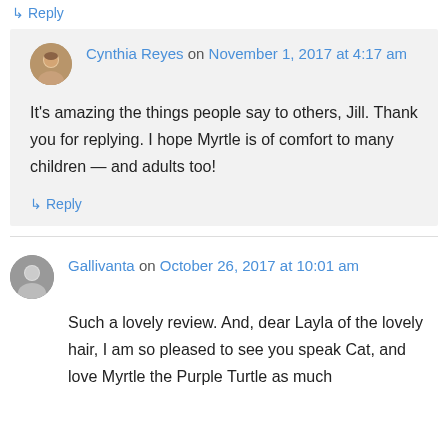↳ Reply
Cynthia Reyes on November 1, 2017 at 4:17 am
It's amazing the things people say to others, Jill. Thank you for replying. I hope Myrtle is of comfort to many children — and adults too!
↳ Reply
Gallivanta on October 26, 2017 at 10:01 am
Such a lovely review. And, dear Layla of the lovely hair, I am so pleased to see you speak Cat, and love Myrtle the Purple Turtle as much